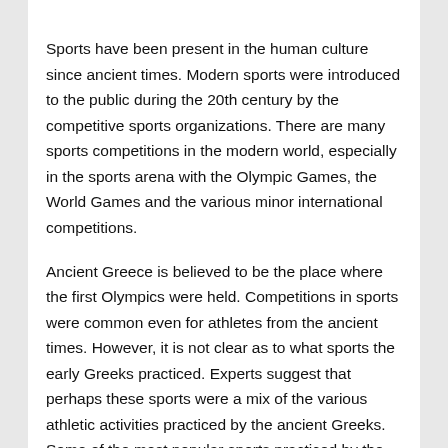Sports have been present in the human culture since ancient times. Modern sports were introduced to the public during the 20th century by the competitive sports organizations. There are many sports competitions in the modern world, especially in the sports arena with the Olympic Games, the World Games and the various minor international competitions.
Ancient Greece is believed to be the place where the first Olympics were held. Competitions in sports were common even for athletes from the ancient times. However, it is not clear as to what sports the early Greeks practiced. Experts suggest that perhaps these sports were a mix of the various athletic activities practiced by the ancient Greeks. Some of the most popular sports practiced by the ancient Greeks were: wrestling, running, boxing, gymnastics, weightlifting, fencing and wrestling.
In modern times, sports are usually dominated by men. Men's sports normally include football, ice hockey,